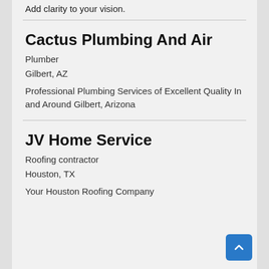Add clarity to your vision.
Cactus Plumbing And Air
Plumber
Gilbert, AZ
Professional Plumbing Services of Excellent Quality In and Around Gilbert, Arizona
JV Home Service
Roofing contractor
Houston, TX
Your Houston Roofing Company